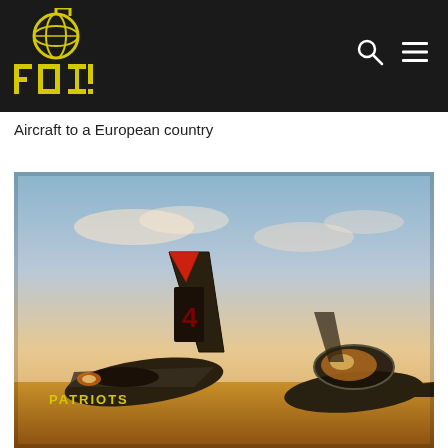[Figure (logo): FOI logo in yellow on black background — stylized letters F, O, I with a grenade/globe icon above]
Aircraft to a European country
[Figure (photo): Two jet aircraft on a tarmac at sunset/golden hour, one labeled PATRIOTS on its fuselage, with tail fins visible showing red and dark markings, cockpit visible on one aircraft]